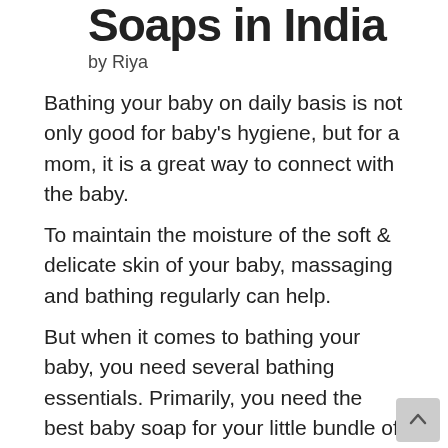Soaps in India
by Riya
Bathing your baby on daily basis is not only good for baby's hygiene, but for a mom, it is a great way to connect with the baby.
To maintain the moisture of the soft & delicate skin of your baby, massaging and bathing regularly can help.
But when it comes to bathing your baby, you need several bathing essentials. Primarily, you need the best baby soap for your little bundle of joy.